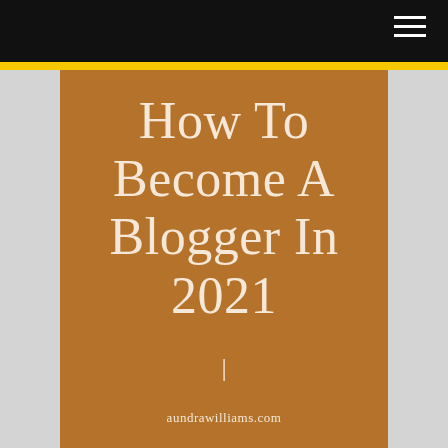How To Become A Blogger In 2021
|
aundrawilliams.com